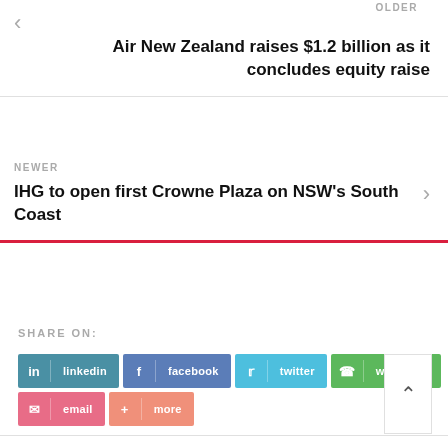OLDER
Air New Zealand raises $1.2 billion as it concludes equity raise
NEWER
IHG to open first Crowne Plaza on NSW's South Coast
SHARE ON:
linkedin
facebook
twitter
whatsapp
email
more